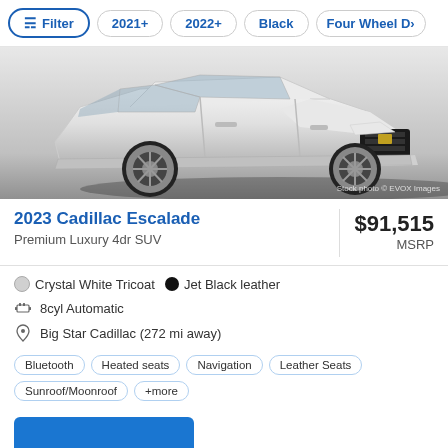Filter | 2021+ | 2022+ | Black | Four Wheel D>
[Figure (photo): 2023 Cadillac Escalade white SUV front 3/4 view, stock photo by EVOX Images]
2023 Cadillac Escalade
Premium Luxury 4dr SUV
$91,515 MSRP
Crystal White Tricoat  •  Jet Black leather
8cyl Automatic
Big Star Cadillac (272 mi away)
Bluetooth  Heated seats  Navigation  Leather Seats  Sunroof/Moonroof  +more